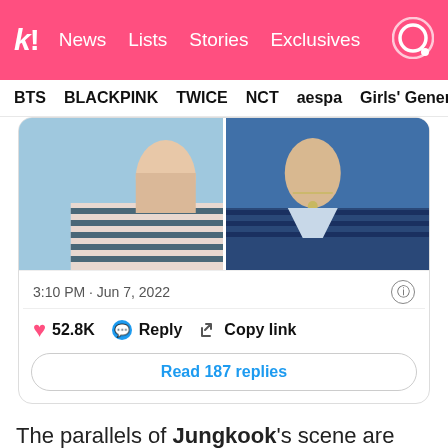k! News Lists Stories Exclusives
BTS BLACKPINK TWICE NCT aespa Girls' Generation
[Figure (screenshot): Tweet card showing two side-by-side photos of a person in striped shirt, with timestamp 3:10 PM · Jun 7, 2022, 52.8K likes, Reply, Copy link buttons, and Read 187 replies button]
The parallels of Jungkook's scene are unbelievably uncanny, further cementing the fact that we are officially back in HYYH.
[Figure (screenshot): Bottom of page showing start of another tweet card with avatar and handle 'jungoo's old pics' and Twitter bird icon]